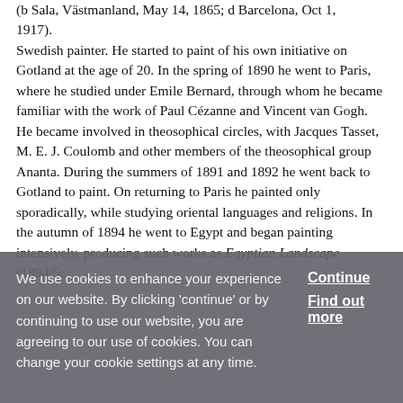(b Sala, Västmanland, May 14, 1865; d Barcelona, Oct 1, 1917). Swedish painter. He started to paint of his own initiative on Gotland at the age of 20. In the spring of 1890 he went to Paris, where he studied under Emile Bernard, through whom he became familiar with the work of Paul Cézanne and Vincent van Gogh. He became involved in theosophical circles, with Jacques Tasset, M. E. J. Coulomb and other members of the theosophical group Ananta. During the summers of 1891 and 1892 he went back to Gotland to paint. On returning to Paris he painted only sporadically, while studying oriental languages and religions. In the autumn of 1894 he went to Egypt and began painting intensively, producing such works as Egyptian Landscape (1894/5:
We use cookies to enhance your experience on our website. By clicking 'continue' or by continuing to use our website, you are agreeing to our use of cookies. You can change your cookie settings at any time.
Continue
Find out more